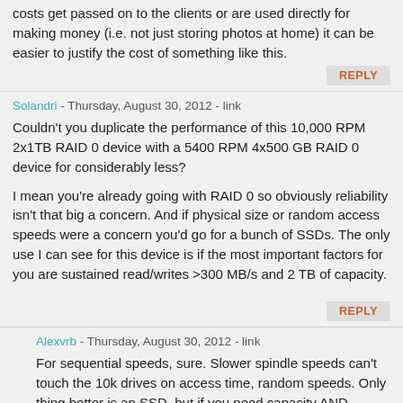costs get passed on to the clients or are used directly for making money (i.e. not just storing photos at home) it can be easier to justify the cost of something like this.
REPLY
Solandri - Thursday, August 30, 2012 - link
Couldn't you duplicate the performance of this 10,000 RPM 2x1TB RAID 0 device with a 5400 RPM 4x500 GB RAID 0 device for considerably less?
I mean you're already going with RAID 0 so obviously reliability isn't that big a concern. And if physical size or random access speeds were a concern you'd go for a bunch of SSDs. The only use I can see for this device is if the most important factors for you are sustained read/writes >300 MB/s and 2 TB of capacity.
REPLY
Alexvrb - Thursday, August 30, 2012 - link
For sequential speeds, sure. Slower spindle speeds can't touch the 10k drives on access time, random speeds. Only thing better is an SSD, but if you need capacity AND speed, the VR drives aren't bad. Also having 4 drives would make the box go from big to HUGE, and assuming